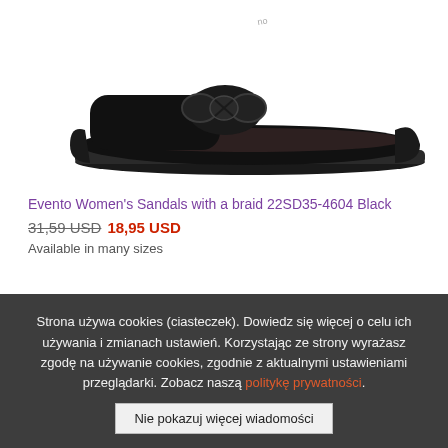[Figure (photo): Product photo of a black women's sandal with a braid detail, shown from the side on a white background.]
Evento Women's Sandals with a braid 22SD35-4604 Black
31,59 USD  18,95 USD
Available in many sizes
Strona używa cookies (ciasteczek). Dowiedz się więcej o celu ich używania i zmianach ustawień. Korzystając ze strony wyrażasz zgodę na używanie cookies, zgodnie z aktualnymi ustawieniami przeglądarki. Zobacz naszą politykę prywatności.
Nie pokazuj więcej wiadomości